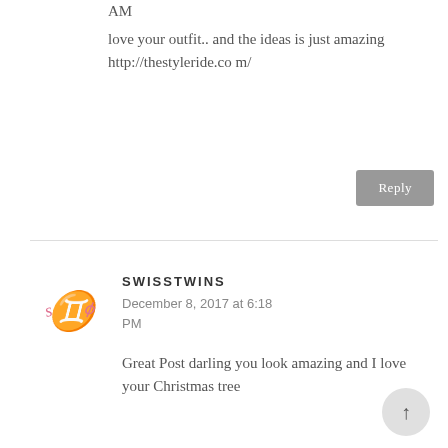AM
love your outfit.. and the ideas is just amazing http://thestyleride.com/
Reply
[Figure (logo): SwissTwins avatar logo with gemini symbol in black and pink script]
SWISSTWINS
December 8, 2017 at 6:18 PM
Great Post darling you look amazing and I love your Christmas tree